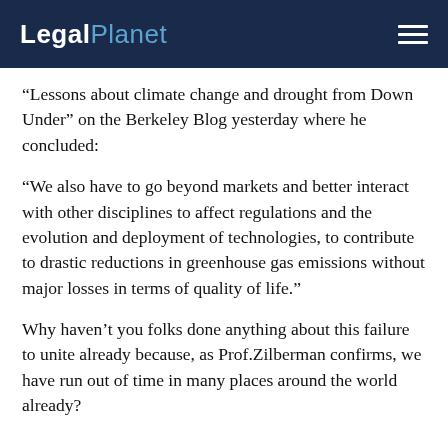LegalPlanet
“Lessons about climate change and drought from Down Under” on the Berkeley Blog yesterday where he concluded:
“We also have to go beyond markets and better interact with other disciplines to affect regulations and the evolution and deployment of technologies, to contribute to drastic reductions in greenhouse gas emissions without major losses in terms of quality of life.”
Why haven’t you folks done anything about this failure to unite already because, as Prof.​Zilberman confirms, we have run out of time in many places around the world already?